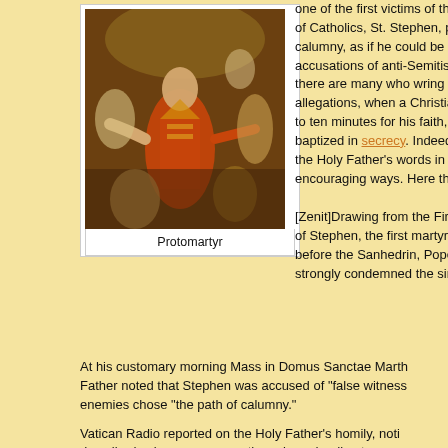[Figure (illustration): Religious painting showing St. Stephen the Protomartyr surrounded by figures, wearing ornate red and gold vestments, with arms outstretched]
Protomartyr
one of the first victims of the of Catholics, St. Stephen, p calumny, as if he could be a accusations of anti-Semitis there are many who wring t allegations, when a Christia to ten minutes for his faith, baptized in secrecy. Indeed the Holy Father's words in a encouraging ways. Here the
[Zenit]Drawing from the Firs of Stephen, the first martyr, before the Sanhedrin, Pope strongly condemned the sin
At his customary morning Mass in Domus Sanctae Marth Father noted that Stephen was accused of "false witness enemies chose "the path of calumny."
Vatican Radio reported on the Holy Father's homily, noti described calumny as worse than sin and a direct expres